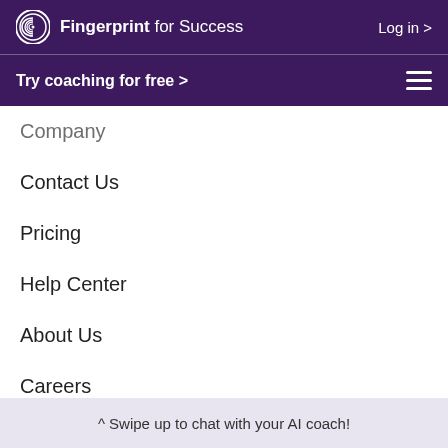Fingerprint for Success  Log in >
Try coaching for free >
Company
Contact Us
Pricing
Help Center
About Us
Careers
Coach Training
Privacy Policy
Terms & Conditions
^ Swipe up to chat with your AI coach!